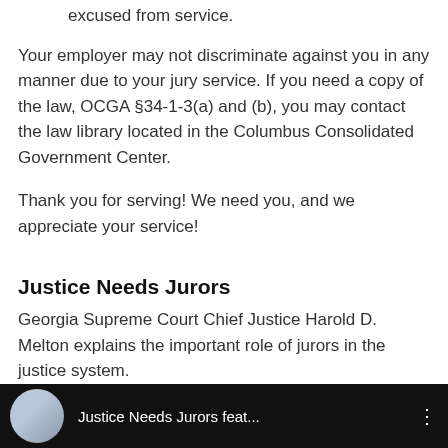excused from service.
Your employer may not discriminate against you in any manner due to your jury service. If you need a copy of the law, OCGA §34-1-3(a) and (b), you may contact the law library located in the Columbus Consolidated Government Center.
Thank you for serving! We need you, and we appreciate your service!
Justice Needs Jurors
Georgia Supreme Court Chief Justice Harold D. Melton explains the important role of jurors in the justice system.
[Figure (screenshot): Video thumbnail with dark background showing a person and the text 'Justice Needs Jurors feat...' with a menu icon]